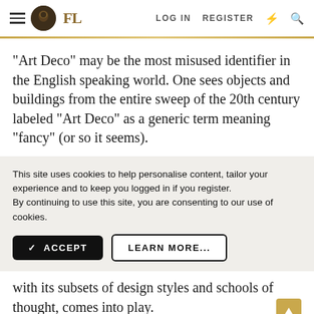FL | LOG IN | REGISTER
“Art Deco” may be the most misused identifier in the English speaking world. One sees objects and buildings from the entire sweep of the 20th century labeled “Art Deco” as a generic term meaning “fancy” (or so it seems).
This site uses cookies to help personalise content, tailor your experience and to keep you logged in if you register.
By continuing to use this site, you are consenting to our use of cookies.
with its subsets of design styles and schools of thought, comes into play.
[Figure (photo): Gray image strip at the bottom of the page]